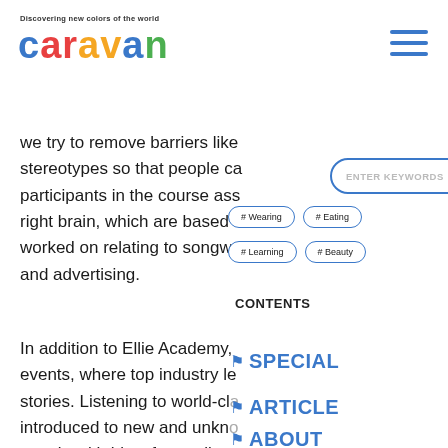Discovering new colors of the world — caravan
we try to remove barriers like stereotypes so that people ca... participants in the course ass... right brain, which are based c... worked on relating to songwriting and advertising.
In addition to Ellie Academy, ... also organize speaking events, where top industry le... share their stories. Listening to world-cla... talent and being introduced to new and unkno... Swimmy offers a similar solut...
CONTENTS
SPECIAL
ARTICLE
ABOUT